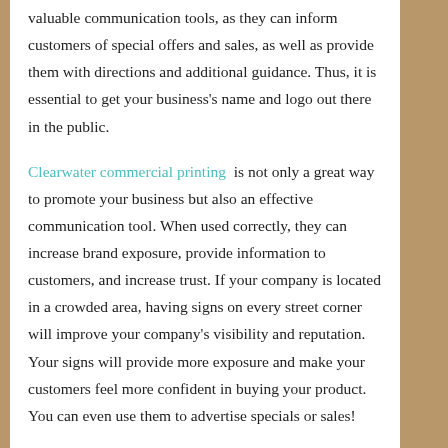valuable communication tools, as they can inform customers of special offers and sales, as well as provide them with directions and additional guidance. Thus, it is essential to get your business's name and logo out there in the public.
Clearwater commercial printing  is not only a great way to promote your business but also an effective communication tool. When used correctly, they can increase brand exposure, provide information to customers, and increase trust. If your company is located in a crowded area, having signs on every street corner will improve your company's visibility and reputation. Your signs will provide more exposure and make your customers feel more confident in buying your product. You can even use them to advertise specials or sales!
Besides enhancing the visibility of your brand, signs can also be a great way to communicate with your customers. Not only